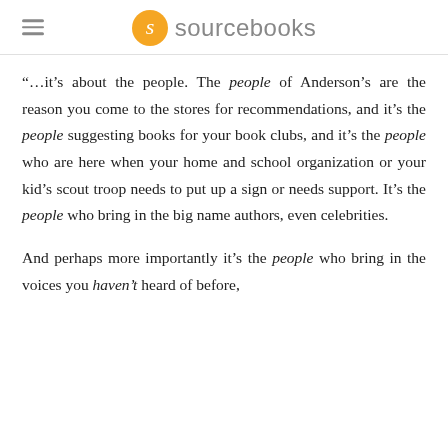sourcebooks
“…it’s about the people. The people of Anderson’s are the reason you come to the stores for recommendations, and it’s the people suggesting books for your book clubs, and it’s the people who are here when your home and school organization or your kid’s scout troop needs to put up a sign or needs support. It’s the people who bring in the big name authors, even celebrities.
And perhaps more importantly it’s the people who bring in the voices you haven’t heard of before,